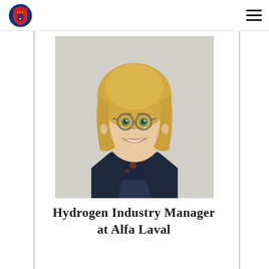Chamber of Commerce logo and navigation menu
[Figure (photo): Professional headshot of a woman with blonde hair and glasses, wearing a dark navy blazer over a floral blouse, smiling, against a light grey background]
Hydrogen Industry Manager at Alfa Laval